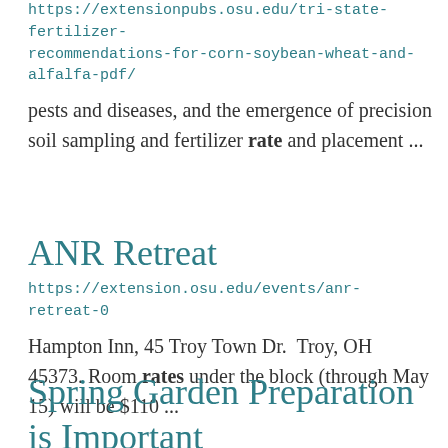https://extensionpubs.osu.edu/tri-state-fertilizer-recommendations-for-corn-soybean-wheat-and-alfalfa-pdf/
pests and diseases, and the emergence of precision soil sampling and fertilizer rate and placement ...
ANR Retreat
https://extension.osu.edu/events/anr-retreat-0
Hampton Inn, 45 Troy Town Dr.  Troy, OH 45373. Room rates under the block (through May 15) will be $110 ...
Spring Garden Preparation is Important